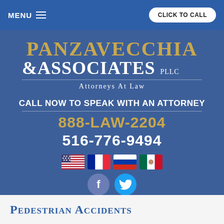MENU  |  CLICK TO CALL
[Figure (logo): Panzavecchia & Associates PLLC Attorneys At Law logo on blue background]
CALL NOW TO SPEAK WITH AN ATTORNEY
888-LAW-2204
516-776-9494
[Figure (illustration): Four country flags: USA, France, Russia, Mexico]
[Figure (illustration): Facebook and Twitter social media buttons]
Pedestrian Accidents